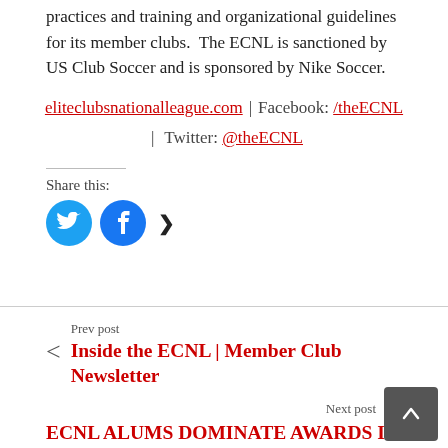practices and training and organizational guidelines for its member clubs.  The ECNL is sanctioned by US Club Soccer and is sponsored by Nike Soccer.
eliteclubsnationalleague.com  |  Facebook: /theECNL  |  Twitter: @theECNL
Share this:
[Figure (infographic): Share icons: Twitter (blue circle with bird icon) and Facebook (blue circle with f icon), followed by a right-pointing arrow]
Prev post
Inside the ECNL | Member Club Newsletter
Next post
ECNL ALUMS DOMINATE AWARDS IN